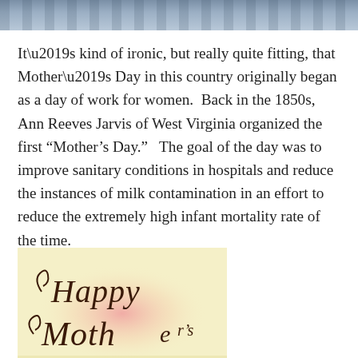[Figure (photo): Partial photo strip at the top of the page showing a blurred building exterior with columns, blue/grey tones]
It’s kind of ironic, but really quite fitting, that Mother’s Day in this country originally began as a day of work for women.  Back in the 1850s, Ann Reeves Jarvis of West Virginia organized the first “Mother’s Day.”   The goal of the day was to improve sanitary conditions in hospitals and reduce the instances of milk contamination in an effort to reduce the extremely high infant mortality rate of the time.
[Figure (illustration): A hand-drawn greeting card illustration on a pale yellow background with a pink/rosy center glow, showing decorative cursive script reading 'Happy Mother's' in dark brown ink with swirling flourishes]